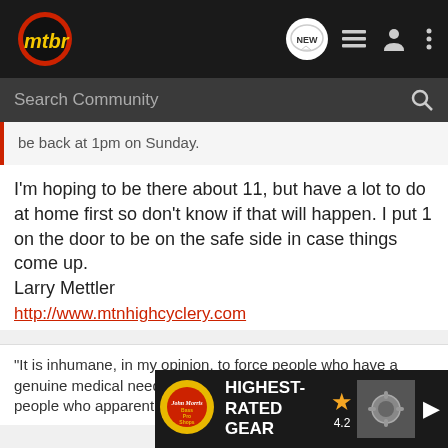[Figure (screenshot): MTBR community forum website screenshot showing navigation bar with MTBR logo, search bar, forum post content, and Bass Pro Shops advertisement banner at bottom.]
mtbr - NEW
be back at 1pm on Sunday.
I'm hoping to be there about 11, but have a lot to do at home first so don't know if that will happen. I put 1 on the door to be on the safe side in case things come up.
Larry Mettler
http://www.mtnhighcyclery.com
"It is inhumane, in my opinion, to force people who have a genuine medical need for coffee to wait in line behind people who apparently